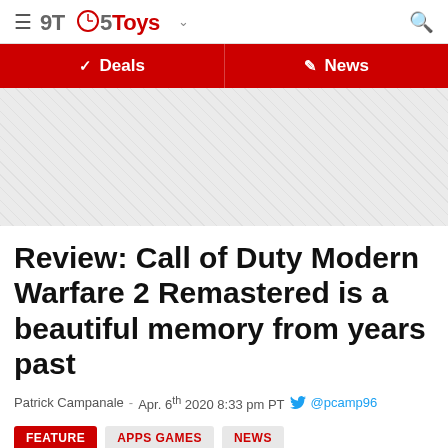9TO5Toys
[Figure (screenshot): Navigation bar with Deals and News links on red background]
[Figure (other): Advertisement placeholder with diagonal hatching pattern]
Review: Call of Duty Modern Warfare 2 Remastered is a beautiful memory from years past
Patrick Campanale - Apr. 6th 2020 8:33 pm PT @pcamp96
FEATURE  APPS GAMES  NEWS